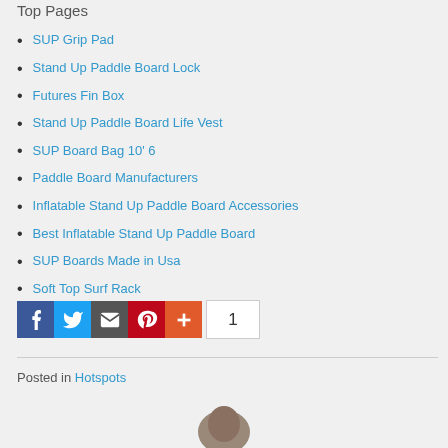Top Pages
SUP Grip Pad
Stand Up Paddle Board Lock
Futures Fin Box
Stand Up Paddle Board Life Vest
SUP Board Bag 10' 6
Paddle Board Manufacturers
Inflatable Stand Up Paddle Board Accessories
Best Inflatable Stand Up Paddle Board
SUP Boards Made in Usa
Soft Top Surf Rack
3 Piece SUP Paddle
[Figure (infographic): Social sharing buttons: Facebook, Twitter, Email, Pinterest, Plus, and a count badge showing 1]
Posted in Hotspots
[Figure (photo): Author photo showing top of a person's head]